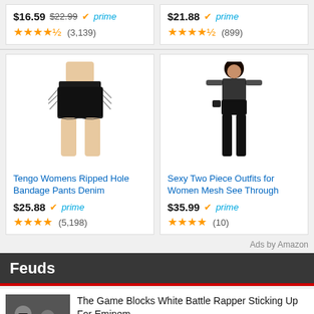$16.59 $22.99 prime (3,139)
$21.88 prime (899)
[Figure (photo): Woman wearing black ripped bandage denim shorts with lace-up sides]
Tengo Womens Ripped Hole Bandage Pants Denim
$25.88 prime ★★★★ (5,198)
[Figure (photo): Woman wearing black mesh see-through two piece outfit with thigh-high boots]
Sexy Two Piece Outfits for Women Mesh See Through
$35.99 prime ★★★★ (10)
Ads by Amazon
Feuds
[Figure (photo): The Game thumbnail photo]
The Game Blocks White Battle Rapper Sticking Up For Eminem